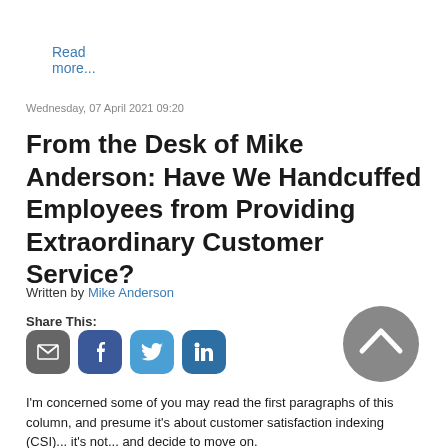Read more...
Wednesday, 07 April 2021 09:20
From the Desk of Mike Anderson: Have We Handcuffed Employees from Providing Extraordinary Customer Service?
Written by Mike Anderson
Share This:
[Figure (infographic): Social share buttons: email (grey), facebook (dark blue), twitter (light blue), linkedin (dark teal), and a grey circular scroll-to-top arrow button]
I'm concerned some of you may read the first paragraphs of this column, and presume it's about customer satisfaction indexing (CSI)... it's not... and decide to move on.